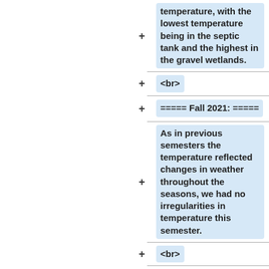temperature, with the lowest temperature being in the septic tank and the highest in the gravel wetlands.
<br>
===== Fall 2021: =====
As in previous semesters the temperature reflected changes in weather throughout the seasons, we had no irregularities in temperature this semester.
<br>
==== <u>pH</u> ====